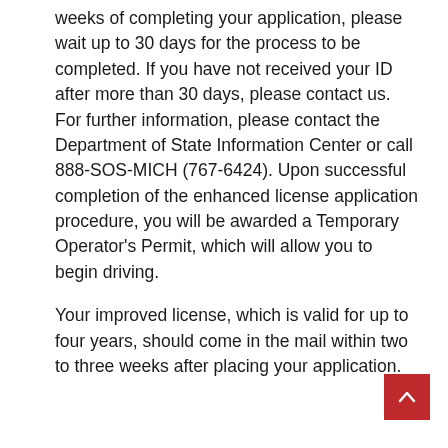weeks of completing your application, please wait up to 30 days for the process to be completed. If you have not received your ID after more than 30 days, please contact us. For further information, please contact the Department of State Information Center or call 888-SOS-MICH (767-6424). Upon successful completion of the enhanced license application procedure, you will be awarded a Temporary Operator's Permit, which will allow you to begin driving.
Your improved license, which is valid for up to four years, should come in the mail within two to three weeks after placing your application.